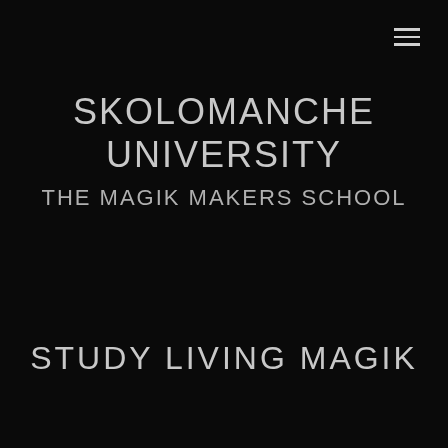[Figure (other): Hamburger menu icon with three horizontal lines in top-right corner]
SKOLOMANCHE UNIVERSITY
THE MAGIK MAKERS SCHOOL
STUDY LIVING MAGIK